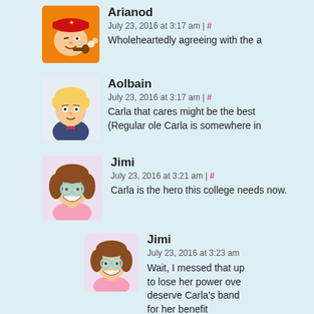[Figure (illustration): Avatar of Arianod: cartoon character with red military cap with star, round face, pipe, orange background]
Arianod
July 23, 2016 at 3:17 am | #
Wholeheartedly agreeing with the a
[Figure (illustration): Avatar of Aolbain: cartoon blond young man with bow tie]
Aolbain
July 23, 2016 at 3:17 am | #
Carla that cares might be the best
(Regular ole Carla is somewhere in
[Figure (illustration): Avatar of Jimi: cartoon girl with brown hair and blue eyes, smiling]
Jimi
July 23, 2016 at 3:21 am | #
Carla is the hero this college needs now.
[Figure (illustration): Avatar of Jimi (nested comment): same cartoon girl with brown hair and blue eyes]
Jimi
July 23, 2016 at 3:23 am
Wait, I messed that up to lose her power over deserve Carla's band for her benefit